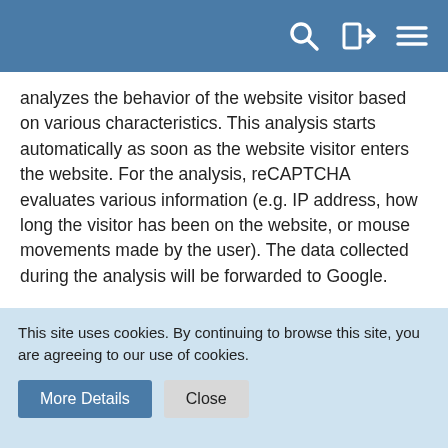[Navigation bar with search, login, and menu icons]
analyzes the behavior of the website visitor based on various characteristics. This analysis starts automatically as soon as the website visitor enters the website. For the analysis, reCAPTCHA evaluates various information (e.g. IP address, how long the visitor has been on the website, or mouse movements made by the user). The data collected during the analysis will be forwarded to Google.
The reCAPTCHA analyses take place completely in the background. Website visitors are not advised that such an analysis is taking place.
Data processing is based on Art. 6 (1) (f) GDPR. The website operator has a legitimate interest in protecting its site from abusive automated crawling and spam.
This site uses cookies. By continuing to browse this site, you are agreeing to our use of cookies.